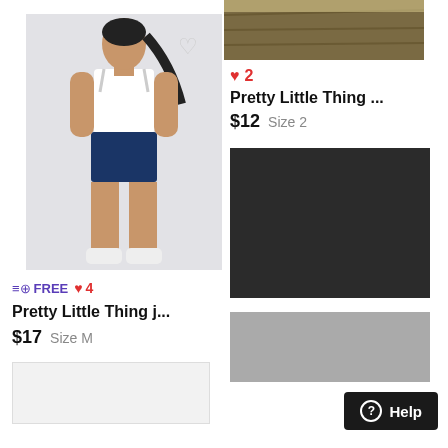[Figure (photo): Fashion model wearing white bodysuit and dark blue denim shorts, white sneakers, against light grey background]
≡⊕ FREE ♥ 4
Pretty Little Thing j...
$17  Size M
[Figure (photo): Partial top image showing wooden/straw background texture]
♥ 2
Pretty Little Thing ...
$12  Size 2
[Figure (photo): Dark/black product image placeholder]
[Figure (photo): Partial bottom right grey image]
[Figure (photo): Bottom left partial white/light product stub]
Help